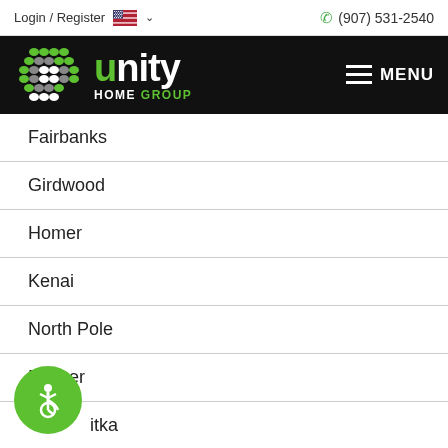Login / Register | (907) 531-2540
[Figure (logo): Unity Home Group logo with green and white branding on black background, with hamburger menu button]
Fairbanks
Girdwood
Homer
Kenai
North Pole
Palmer
Sitka